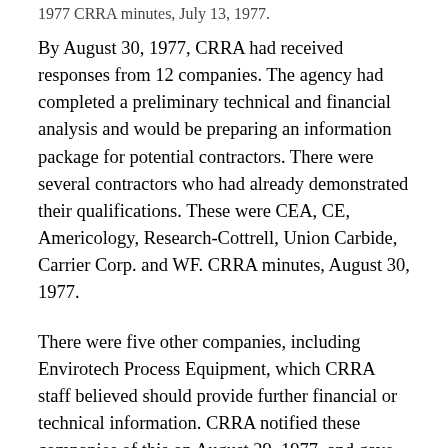1977 CRRA minutes, July 13, 1977.
By August 30, 1977, CRRA had received responses from 12 companies. The agency had completed a preliminary technical and financial analysis and would be preparing an information package for potential contractors. There were several contractors who had already demonstrated their qualifications. These were CEA, CE, Americology, Research-Cottrell, Union Carbide, Carrier Corp. and WF. CRRA minutes, August 30, 1977.
There were five other companies, including Envirotech Process Equipment, which CRRA staff believed should provide further financial or technical information. CRRA notified these companies of this on August 29, 1977, and gave them a September 9, 1977, deadline. Id.